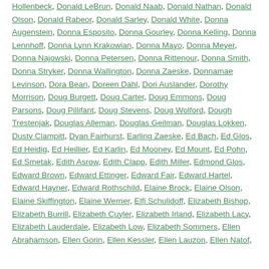Hollenbeck, Donald LeBrun, Donald Naab, Donald Nathan, Donald Olson, Donald Rabeor, Donald Sarley, Donald White, Donna Augenstein, Donna Esposito, Donna Gourley, Donna Kelling, Donna Lennhoff, Donna Lynn Krakowian, Donna Mayo, Donna Meyer, Donna Najowski, Donna Petersen, Donna Rittenour, Donna Smith, Donna Stryker, Donna Wallington, Donna Zaeske, Donnamae Levinson, Dora Bean, Doreen Dahl, Dori Auslander, Dorothy Morrison, Doug Burgett, Doug Carter, Doug Emmons, Doug Parsons, Doug Pillifant, Doug Stevens, Doug Wolford, Dough Trestenjak, Douglas Alleman, Douglas Geilman, Douglas Lokken, Dusty Clampitt, Dyan Fairhurst, Earling Zaeske, Ed Bach, Ed Glos, Ed Heidig, Ed Heillier, Ed Karlin, Ed Mooney, Ed Mount, Ed Pohn, Ed Smetak, Edith Asrow, Edith Clapp, Edith Miller, Edmond Glos, Edward Brown, Edward Ettinger, Edward Fair, Edward Hartel, Edward Hayner, Edward Rothschild, Elaine Brock, Elaine Olson, Elaine Skiffington, Elaine Werner, Elfi Schulidoff, Elizabeth Bishop, Elizabeth Burrill, Elizabeth Cuyler, Elizabeth Irland, Elizabeth Lacy, Elizabeth Lauderdale, Elizabeth Low, Elizabeth Sommers, Ellen Abrahamson, Ellen Gorin, Ellen Kessler, Ellen Lauzon, Ellen Natof,